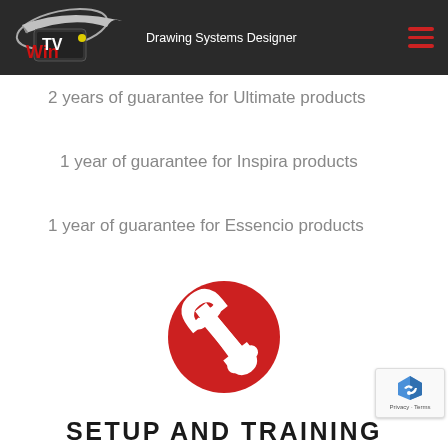WinTV Drawing Systems Designer
2 years of guarantee for Ultimate products
1 year of guarantee for Inspira products
1 year of guarantee for Essencio products
[Figure (illustration): Red circle with white wrench/spanner icon]
SETUP AND TRAINING